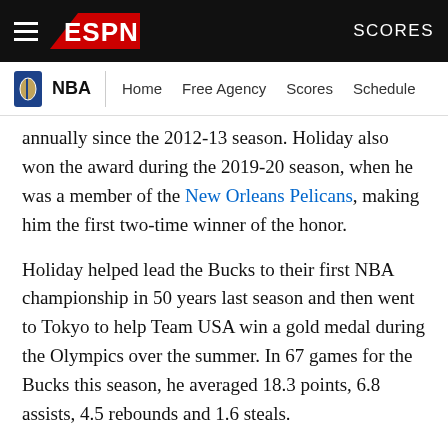ESPN — SCORES | NBA | Home | Free Agency | Scores | Schedule
annually since the 2012-13 season. Holiday also won the award during the 2019-20 season, when he was a member of the New Orleans Pelicans, making him the first two-time winner of the honor.
Holiday helped lead the Bucks to their first NBA championship in 50 years last season and then went to Tokyo to help Team USA win a gold medal during the Olympics over the summer. In 67 games for the Bucks this season, he averaged 18.3 points, 6.8 assists, 4.5 rebounds and 1.6 steals.
Holiday and his wife, Lauren, launched the Jrue and Lauren Holiday Social Justice Impact Fund in 2020 to help address socioeconomic inequalities across several communities. In